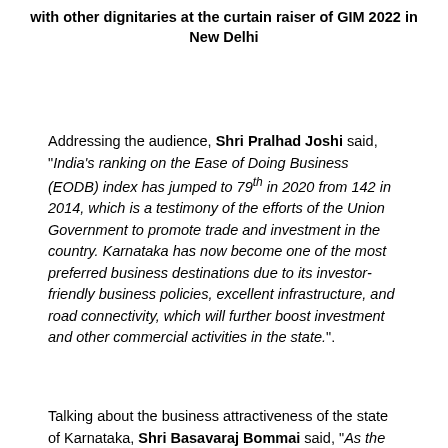with other dignitaries at the curtain raiser of GIM 2022 in New Delhi
[Figure (photo): Photo placeholder area (image of dignitaries at GIM 2022 curtain raiser)]
Addressing the audience, Shri Pralhad Joshi said, “India’s ranking on the Ease of Doing Business (EODB) index has jumped to 79th in 2020 from 142 in 2014, which is a testimony of the efforts of the Union Government to promote trade and investment in the country. Karnataka has now become one of the most preferred business destinations due to its investor-friendly business policies, excellent infrastructure, and road connectivity, which will further boost investment and other commercial activities in the state.”.
[Figure (photo): Photo placeholder area (image related to GIM 2022 event)]
Talking about the business attractiveness of the state of Karnataka, Shri Basavaraj Bommai said, “As the world is recovering from the pandemic, Karnataka has created the right kind of policies, atmosphere and